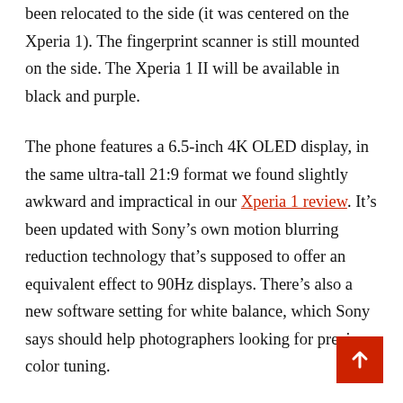been relocated to the side (it was centered on the Xperia 1). The fingerprint scanner is still mounted on the side. The Xperia 1 II will be available in black and purple.
The phone features a 6.5-inch 4K OLED display, in the same ultra-tall 21:9 format we found slightly awkward and impractical in our Xperia 1 review. It's been updated with Sony's own motion blurring reduction technology that's supposed to offer an equivalent effect to 90Hz displays. There's also a new software setting for white balance, which Sony says should help photographers looking for precise color tuning.
Sony makes a big deal of the supposed cinematic experience offered by the Xperia 1 II. The company says that's the reason the phone has a “forehead,” rather than a punch hole or a notch